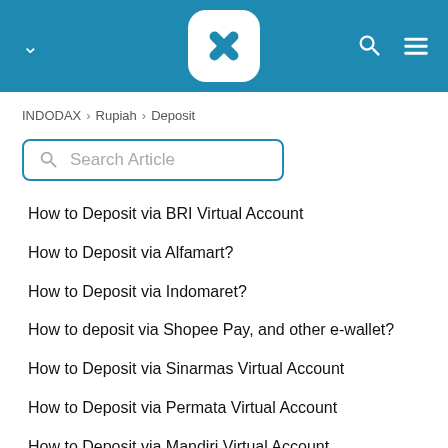INDODAX logo header with navigation
INDODAX > Rupiah > Deposit
Search Article
How to Deposit via BRI Virtual Account
How to Deposit via Alfamart?
How to Deposit via Indomaret?
How to deposit via Shopee Pay, and other e-wallet?
How to Deposit via Sinarmas Virtual Account
How to Deposit via Permata Virtual Account
How to Deposit via Mandiri Virtual Account